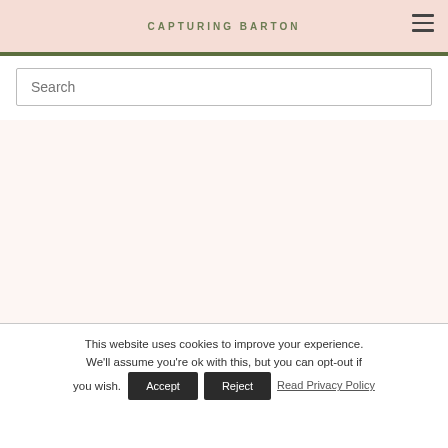CAPTURING BARTON
[Figure (other): Hamburger menu icon (three horizontal lines) in the top right of the header]
[Figure (other): Search input field with placeholder text 'Search']
This website uses cookies to improve your experience. We'll assume you're ok with this, but you can opt-out if you wish.
Accept  Reject  Read Privacy Policy